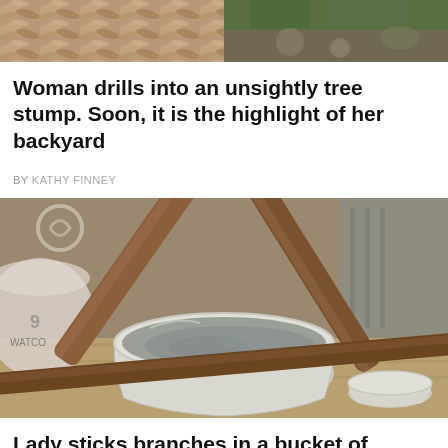[Figure (photo): Top cropped photo showing partial outdoor scene with wood chips/mulch on the left and green plants/rocks on the right]
Woman drills into an unsightly tree stump. Soon, it is the highlight of her backyard
BY KATHY FINNEY
[Figure (photo): Photo of wooden branches/sticks inserted into a white bucket filled with wet cement/concrete mixture. Additional buckets visible nearby on a wooden surface.]
Lady sticks branches in a bucket of cement. Wait till she pulls 'em out